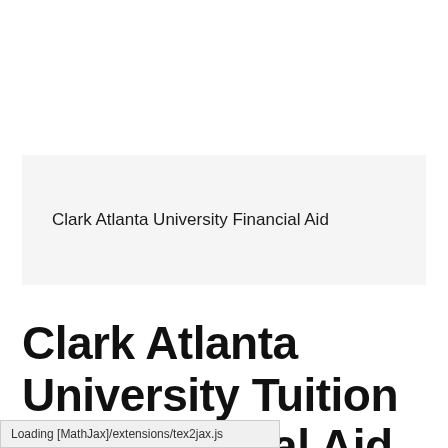Clark Atlanta University Financial Aid
Clark Atlanta University Tuition and Financial Aid
Loading [MathJax]/extensions/tex2jax.js